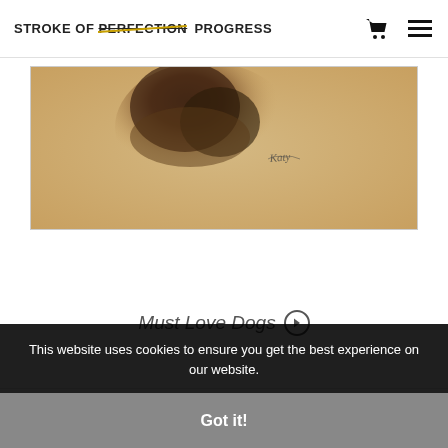STROKE OF PERFECTION PROGRESS
[Figure (photo): Close-up painting of a dog's face with warm golden-brown tones, artist signature visible in lower right area of painting]
Must Love Dogs ▶
[Figure (photo): Black and white photograph showing figures, appears to be an artistic/gallery image]
This website uses cookies to ensure you get the best experience on our website.
Got it!